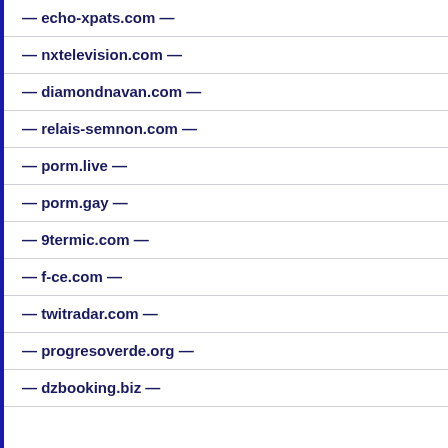— echo-xpats.com —
— nxtelevision.com —
— diamondnavan.com —
— relais-semnon.com —
— porm.live —
— porm.gay —
— 9termic.com —
— f-ce.com —
— twitradar.com —
— progresoverde.org —
— dzbooking.biz —